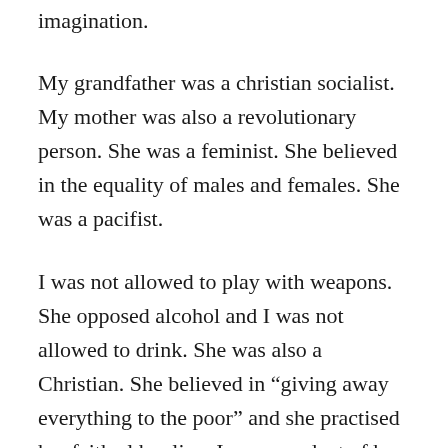imagination.
My grandfather was a christian socialist. My mother was also a revolutionary person. She was a feminist. She believed in the equality of males and females. She was a pacifist.
I was not allowed to play with weapons. She opposed alcohol and I was not allowed to drink. She was also a Christian. She believed in “giving away everything to the poor” and she practised her faith al her live. I am a product of her ideals.
Later in life she became a very critical person. She gave away everything but nobody gave her back what she gave away. When she was old she was alone and she